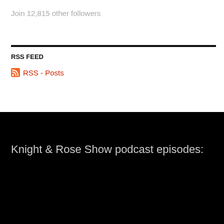Join 12,815 other followers
RSS FEED
RSS - Posts
Knight & Rose Show podcast episodes:
The Historical Reliability of the Gospels
08/20/2022
Bible Study: Basic Christian Beliefs in Philippians
08/14/2022